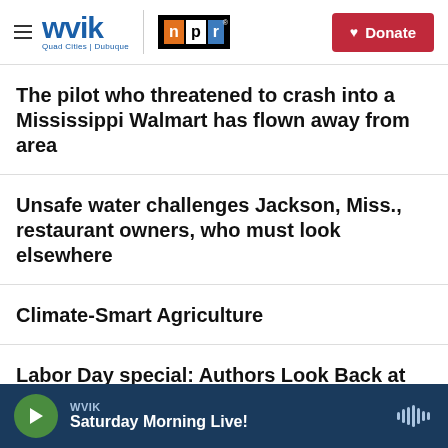WVIK | NPR | Quad Cities | Dubuque | Donate
The pilot who threatened to crash into a Mississippi Walmart has flown away from area
Unsafe water challenges Jackson, Miss., restaurant owners, who must look elsewhere
Climate-Smart Agriculture
Labor Day special: Authors Look Back at Strike That Shook the Meatpacking Industry
WVIK | Saturday Morning Live!